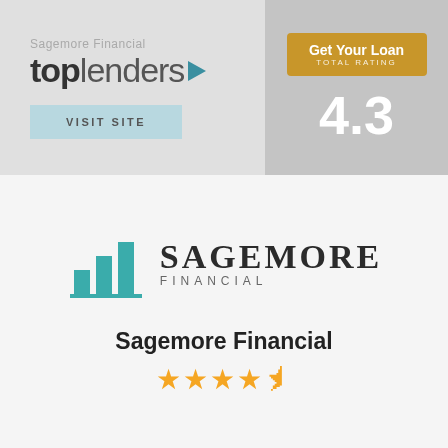[Figure (logo): Sagemore Financial Top Lenders logo with teal arrow accent]
VISIT SITE
[Figure (infographic): Get Your Loan rating badge showing TOTAL RATING 4.3 on gold/amber background]
[Figure (logo): Sagemore Financial company logo with teal bar chart icon and serif company name]
Sagemore Financial
[Figure (infographic): Star rating: 4.5 out of 5 stars shown in gold]